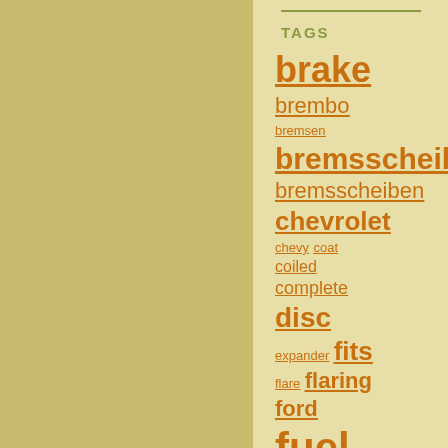TAGS
brake
brembo
bremsen
bremsscheibe
bremsscheiben
chevrolet
chevy coat
coiled
complete
disc
expander fits
flare flaring
ford
fuel
hinten hose
hydraulic
lemförder
lenker
line